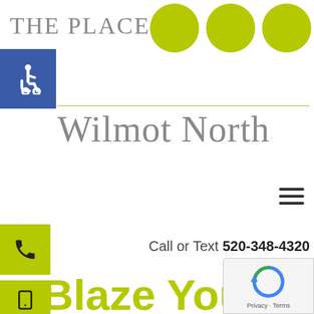THE PLACE AT
[Figure (logo): Three lime-green circles arranged horizontally]
[Figure (logo): Blue square with white wheelchair accessibility icon]
Wilmot North
[Figure (infographic): Hamburger menu icon (three horizontal lines)]
[Figure (infographic): Lime-green box with phone/call icon]
Call or Text 520-348-4320
[Figure (infographic): Lime-green box with mobile phone icon]
[Figure (infographic): Lime-green box with clipboard icon]
Blaze Your Own Trails This July With These Unique Tucson Adventures
[Figure (logo): reCAPTCHA badge with circular arrow icon and Privacy · Terms text]